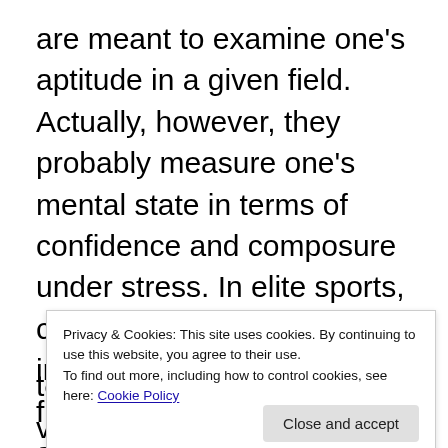are meant to examine one's aptitude in a given field. Actually, however, they probably measure one's mental state in terms of confidence and composure under stress. In elite sports, competitors are comparable in physical talent and fitness; the mentally tougher athlete will win. In Iyengar assessments, all candidates are more or less ready in their substantive knowledge of teaching asana; rather they must
Privacy & Cookies: This site uses cookies. By continuing to use this website, you agree to their use. To find out more, including how to control cookies, see here: Cookie Policy
toughness is just as valuable as substantive